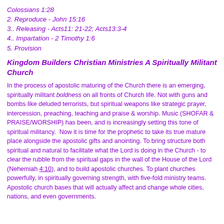Colossians 1:28
2.  Reproduce - John 15:16
3.. Releasing - Acts11: 21-22; Acts13:3-4
4.. Impartation - 2 Timothy 1:6
5. Provision
Kingdom Builders Christian Ministries A Spiritually Militant Church
In the process of apostolic maturing of the Church there is an emerging, spiritually militant boldness on all fronts of Church life. Not with guns and bombs like deluded terrorists, but spiritual weapons like strategic prayer, intercession, preaching, teaching and praise & worship. Music (SHOFAR & PRAISE/WORSHIP) has been, and is increasingly setting this tone of spiritual militancy.  Now it is time for the prophetic to take its true mature place alongside the apostolic gifts and anointing. To bring structure both spiritual and natural to facilitate what the Lord is doing in the Church - to clear the rubble from the spiritual gaps in the wall of the House of the Lord (Nehemiah 4:10), and to build apostolic churches. To plant churches powerfully, in spiritually governing strength, with five-fold ministry teams. Apostolic church bases that will actually affect and change whole cities, nations, and even governments.